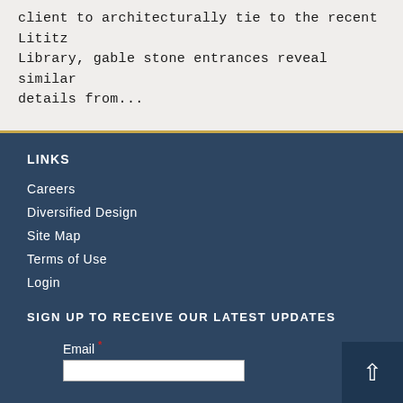client to architecturally tie to the recent Lititz Library, gable stone entrances reveal similar details from...
LINKS
Careers
Diversified Design
Site Map
Terms of Use
Login
SIGN UP TO RECEIVE OUR LATEST UPDATES
Email *